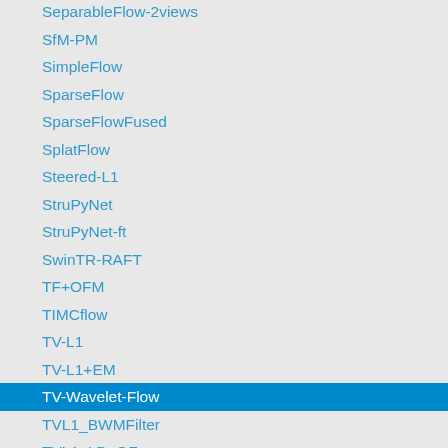SeparableFlow-2views
SfM-PM
SimpleFlow
SparseFlow
SparseFlowFused
SplatFlow
Steered-L1
StruPyNet
StruPyNet-ft
SwinTR-RAFT
TF+OFM
TIMCflow
TV-L1
TV-L1+EM
TV-Wavelet-Flow
TVL1_BWMFilter
TVL1_LD_GF
TVL1_ROB
TVL1_RVC